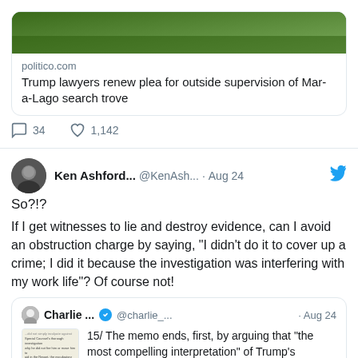[Figure (screenshot): Top portion of a tweet showing a link card to politico.com article 'Trump lawyers renew plea for outside supervision of Mar-a-Lago search trove' with a nature/landscape image. Shows 34 comments and 1,142 likes.]
politico.com
Trump lawyers renew plea for outside supervision of Mar-a-Lago search trove
34   1,142
Ken Ashford... @KenAsh... · Aug 24
So?!?
If I get witnesses to lie and destroy evidence, can I avoid an obstruction charge by saying, "I didn't do it to cover up a crime; I did it because the investigation was interfering with my work life"? Of course not!
Charlie ... @charlie_... · Aug 24
15/ The memo ends, first, by arguing that "the most compelling interpretation" of Trump's conduct was that he